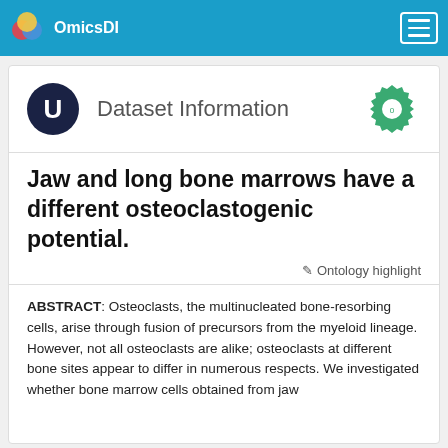OmicsDI
Dataset Information
Jaw and long bone marrows have a different osteoclastogenic potential.
Ontology highlight
ABSTRACT: Osteoclasts, the multinucleated bone-resorbing cells, arise through fusion of precursors from the myeloid lineage. However, not all osteoclasts are alike; osteoclasts at different bone sites appear to differ in numerous respects. We investigated whether bone marrow cells obtained from jaw